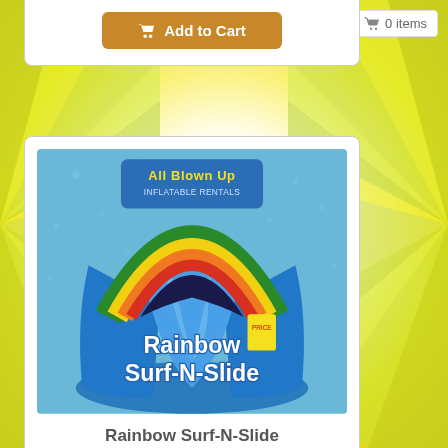[Figure (screenshot): E-commerce page showing rental inflatables. Top section has an 'Add to Cart' button for a previous item (partially visible). A cart badge showing '0 items' is in the top right. Below is a product card for 'Rainbow Surf-N-Slide' with a product photo showing a blue inflatable water slide with rainbow arch and 'All Blown Up Inflatable Rentals' logo, and an 'Add to Cart' button.]
Rainbow Surf-N-Slide
Add to Cart
0 items